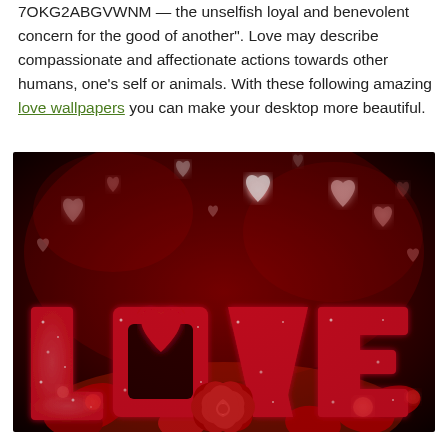7OKG2ABGVWNM — the unselfish loyal and benevolent concern for the good of another". Love may describe compassionate and affectionate actions towards other humans, one's self or animals. With these following amazing love wallpapers you can make your desktop more beautiful.
[Figure (photo): A romantic love-themed photo showing glittery red 3D letters spelling LOVE with a red rose in the foreground and bokeh heart shapes glowing in the background against a dark red background.]